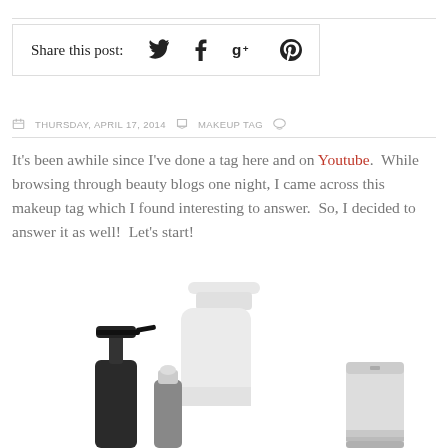Share this post:
THURSDAY, APRIL 17, 2014   MAKEUP TAG
It's been awhile since I've done a tag here and on Youtube. While browsing through beauty blogs one night, I came across this makeup tag which I found interesting to answer. So, I decided to answer it as well!  Let's start!
[Figure (photo): A group of white beauty/cosmetic containers: a black pump dispenser, a small spray bottle, a large white lotion bottle, and a white squeeze tube, arranged on a white background.]